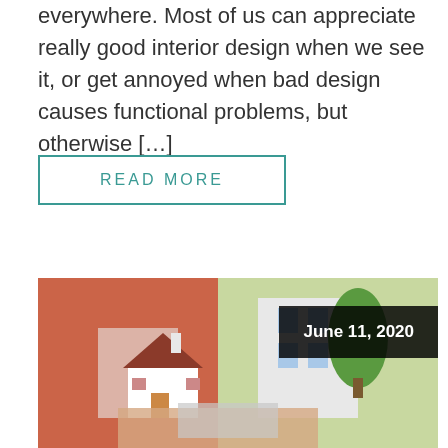everywhere. Most of us can appreciate really good interior design when we see it, or get annoyed when bad design causes functional problems, but otherwise […]
READ MORE
[Figure (photo): A person in a red top holding a small model house, appearing to use a calculator, with greenery and buildings in the background. A black date badge reads 'June 11, 2020'.]